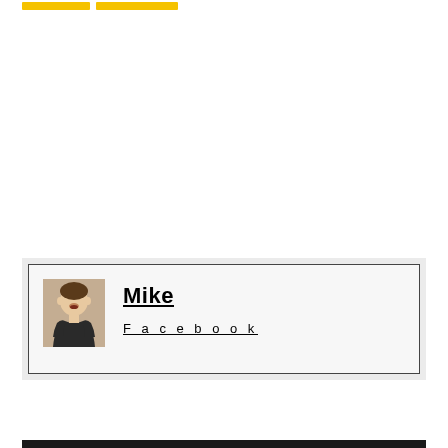[Figure (other): Two yellow navigation/tag buttons at the top left of the page]
[Figure (photo): Author card with photo of Mike (man in black t-shirt), name 'Mike' in bold underlined, and 'Facebook' in spaced underlined text below]